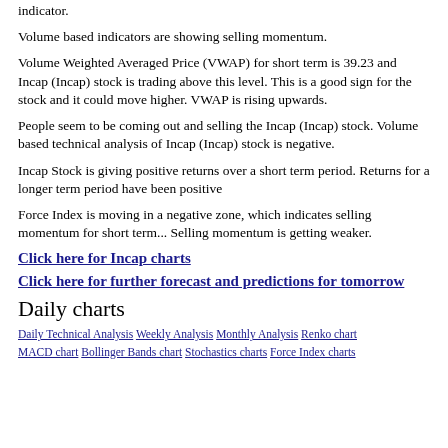indicator.
Volume based indicators are showing selling momentum.
Volume Weighted Averaged Price (VWAP) for short term is 39.23 and Incap (Incap) stock is trading above this level. This is a good sign for the stock and it could move higher. VWAP is rising upwards.
People seem to be coming out and selling the Incap (Incap) stock. Volume based technical analysis of Incap (Incap) stock is negative.
Incap Stock is giving positive returns over a short term period. Returns for a longer term period have been positive
Force Index is moving in a negative zone, which indicates selling momentum for short term... Selling momentum is getting weaker.
Click here for Incap charts
Click here for further forecast and predictions for tomorrow
Daily charts
Daily Technical Analysis Weekly Analysis Monthly Analysis Renko chart MACD chart Bollinger Bands chart Stochastics charts Force Index charts